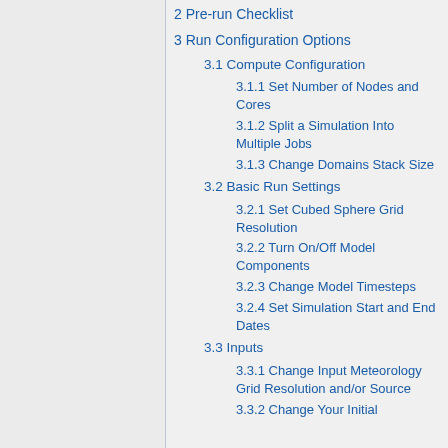2 Pre-run Checklist
3 Run Configuration Options
3.1 Compute Configuration
3.1.1 Set Number of Nodes and Cores
3.1.2 Split a Simulation Into Multiple Jobs
3.1.3 Change Domains Stack Size
3.2 Basic Run Settings
3.2.1 Set Cubed Sphere Grid Resolution
3.2.2 Turn On/Off Model Components
3.2.3 Change Model Timesteps
3.2.4 Set Simulation Start and End Dates
3.3 Inputs
3.3.1 Change Input Meteorology Grid Resolution and/or Source
3.3.2 Change Your Initial